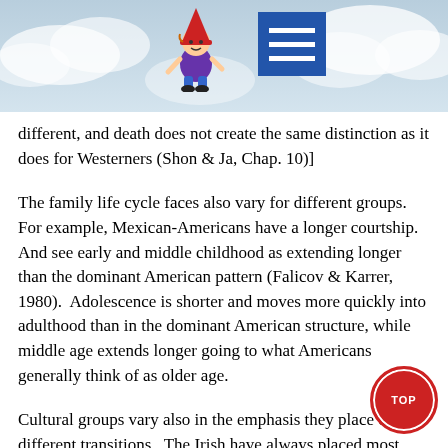[Figure (illustration): Website header with cloudy sky background, a cartoon mascot character (gnome/elf with red hat) on the left and a blue hamburger menu button on the right]
different, and death does not create the same distinction as it does for Westerners (Shon & Ja, Chap. 10)]
The family life cycle faces also vary for different groups.  For example, Mexican-Americans have a longer courtship.  And see early and middle childhood as extending longer than the dominant American pattern (Falicov & Karrer, 1980).  Adolescence is shorter and moves more quickly into adulthood than in the dominant American structure, while middle age extends longer going to what Americans generally think of as older age.
Cultural groups vary also in the emphasis they place on different transitions.  The Irish have always placed most emphasis on the wake, viewing death as the most important life cycle transition.  Italians in contrast, emphasize the wedding, while Jews often give particular attention to the Bar Mitzv...